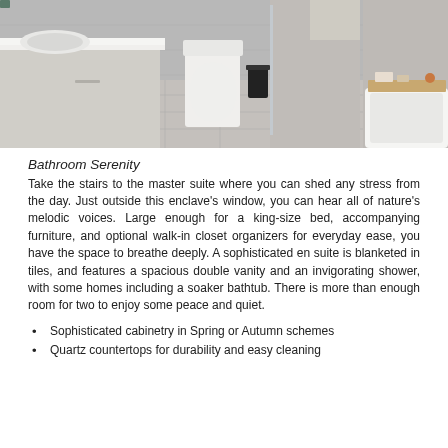[Figure (photo): Modern bathroom interior with double vanity, walk-in shower, bathtub with wooden tray, marble-look tile floors and walls]
Bathroom Serenity
Take the stairs to the master suite where you can shed any stress from the day. Just outside this enclave's window, you can hear all of nature's melodic voices. Large enough for a king-size bed, accompanying furniture, and optional walk-in closet organizers for everyday ease, you have the space to breathe deeply. A sophisticated en suite is blanketed in tiles, and features a spacious double vanity and an invigorating shower, with some homes including a soaker bathtub. There is more than enough room for two to enjoy some peace and quiet.
Sophisticated cabinetry in Spring or Autumn schemes
Quartz countertops for durability and easy cleaning